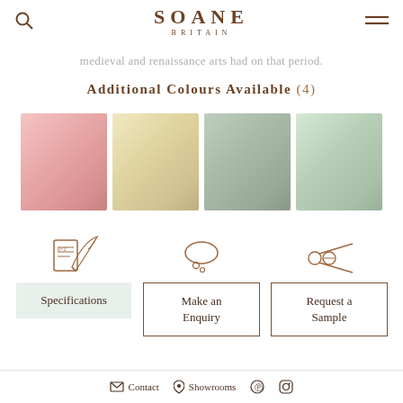SOANE BRITAIN
medieval and renaissance arts had on that period.
Additional Colours Available (4)
[Figure (illustration): Four fabric/wallpaper colour swatches: pink, cream, sage green, mint green]
[Figure (illustration): Three action icons: quill and paper (Specifications), thought bubble (Make an Enquiry), scissors (Request a Sample)]
Specifications
Make an Enquiry
Request a Sample
Contact  Showrooms